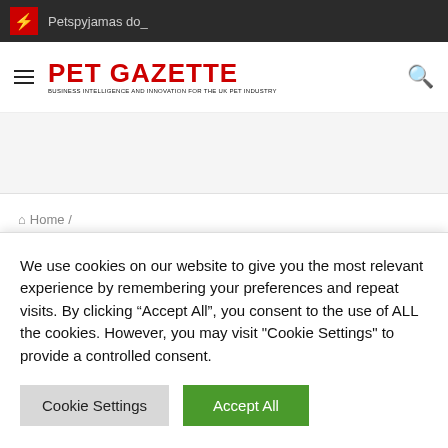Petspyjamas do_
[Figure (logo): Pet Gazette logo with red text and tagline]
Home /
In Vogue Pets
We use cookies on our website to give you the most relevant experience by remembering your preferences and repeat visits. By clicking "Accept All", you consent to the use of ALL the cookies. However, you may visit "Cookie Settings" to provide a controlled consent.